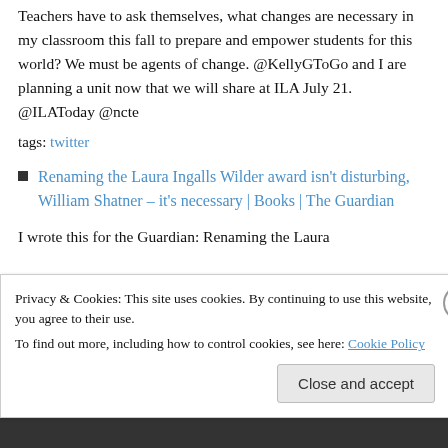Teachers have to ask themselves, what changes are necessary in my classroom this fall to prepare and empower students for this world? We must be agents of change. @KellyGToGo and I are planning a unit now that we will share at ILA July 21. @ILAToday @ncte
tags: twitter
Renaming the Laura Ingalls Wilder award isn't disturbing, William Shatner – it's necessary | Books | The Guardian
I wrote this for the Guardian: Renaming the Laura
Privacy & Cookies: This site uses cookies. By continuing to use this website, you agree to their use.
To find out more, including how to control cookies, see here: Cookie Policy